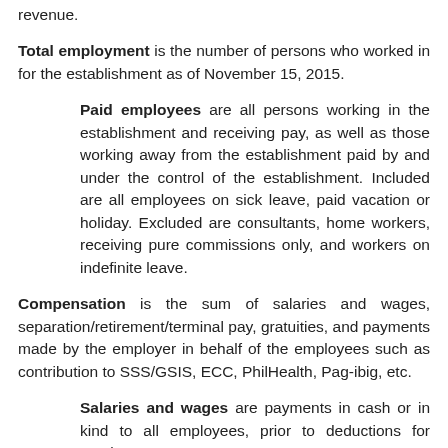revenue.
Total employment is the number of persons who worked in for the establishment as of November 15, 2015.
Paid employees are all persons working in the establishment and receiving pay, as well as those working away from the establishment paid by and under the control of the establishment. Included are all employees on sick leave, paid vacation or holiday. Excluded are consultants, home workers, receiving pure commissions only, and workers on indefinite leave.
Compensation is the sum of salaries and wages, separation/retirement/terminal pay, gratuities, and payments made by the employer in behalf of the employees such as contribution to SSS/GSIS, ECC, PhilHealth, Pag-ibig, etc.
Salaries and wages are payments in cash or in kind to all employees, prior to deductions for employee's